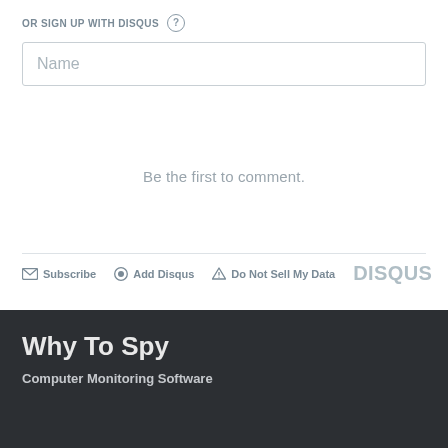OR SIGN UP WITH DISQUS ?
Name
Be the first to comment.
Subscribe  Add Disqus  Do Not Sell My Data  DISQUS
Why To Spy
Computer Monitoring Software